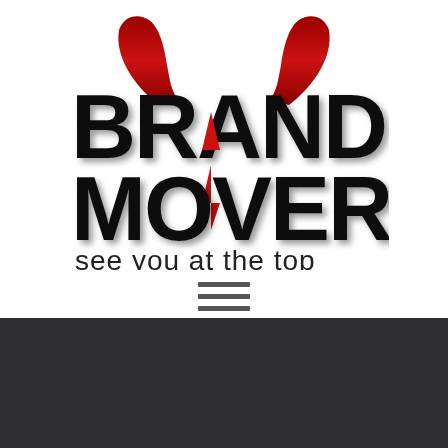[Figure (logo): BrandMover logo featuring red bull horns above bold black text reading BRAND MOVER with a red diamond/tie shape between letters, and tagline 'see you at the top' below]
[Figure (other): Hamburger menu icon with three horizontal gray lines]